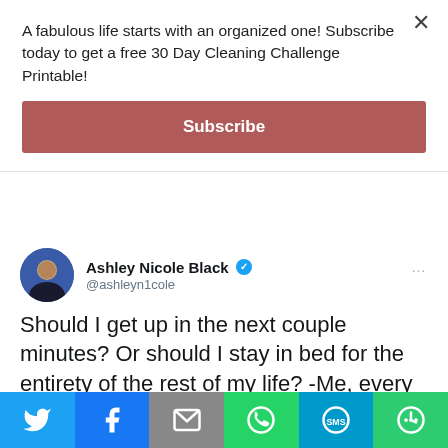A fabulous life starts with an organized one! Subscribe today to get a free 30 Day Cleaning Challenge Printable!
Subscribe
[Figure (screenshot): Tweet from Ashley Nicole Black (@ashleyn1cole) with verified badge: Should I get up in the next couple minutes? Or should I stay in bed for the entirety of the rest of my life? -Me, every morning.]
Twitter | Facebook | Email | WhatsApp | SMS | More